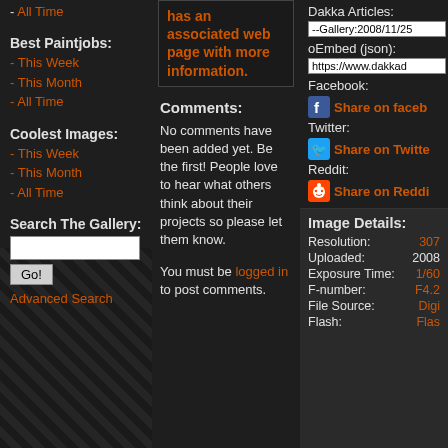- All Time
Best Paintjobs:
- This Week
- This Month
- All Time
Coolest Images:
- This Week
- This Month
- All Time
Search The Gallery:
Advanced Search
has an associated web page with more information.
Comments:
No comments have been added yet. Be the first! People love to hear what others think about their projects so please let them know.
You must be logged in to post comments.
Dakka Articles:
--Gallery:2008/11/25
oEmbed (json):
https://www.dakkad
Facebook:
Share on faceb
Twitter:
Share on Twitte
Reddit:
Share on Reddi
Image Details:
Resolution: 3072
Uploaded: 2008
Exposure Time: 1/60
F-number: F4.2
File Source: Digi
Flash: Flas